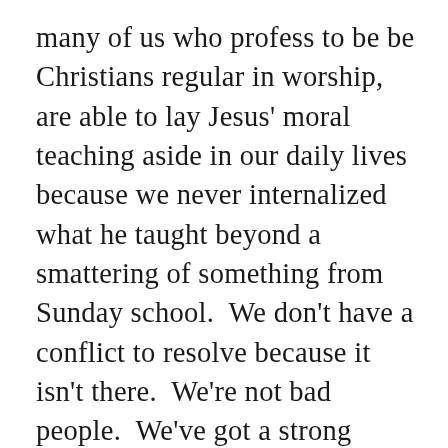many of us who profess to be be Christians regular in worship, are able to lay Jesus' moral teaching aside in our daily lives because we never internalized what he taught beyond a smattering of something from Sunday school.  We don't have a conflict to resolve because it isn't there.  We're not bad people.  We've got a strong sense of right and wrong.  We're among the good, decent people who populate our communities.  We have  good, decent friends, and are active in volunteer service.  So what's